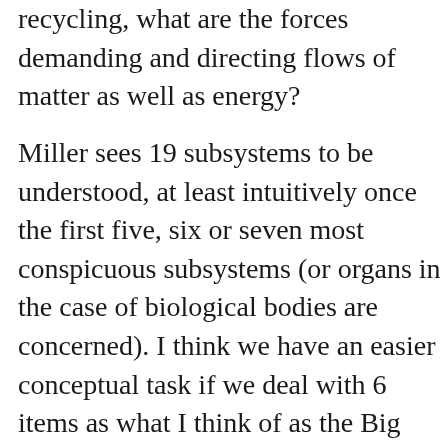recycling, what are the forces demanding and directing flows of matter as well as energy?
Miller sees 19 subsystems to be understood, at least intuitively once the first five, six or seven most conspicuous subsystems (or organs in the case of biological bodies are concerned). I think we have an easier conceptual task if we deal with 6 items as what I think of as the Big Ones, the six issues that have the most powerful effect on clarifying the matter in relation to climate and even the rising of the sea and flows of its currents, not to speak extinction of large swaths of the biosphere's plants and animals. If we select the Big Ones that help order both our thinking and the actual conditions on this planet relative to climate change we will have the best chance of understanding how to prioritize and mo